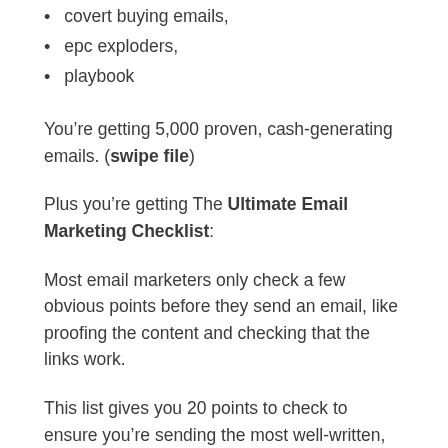covert buying emails,
epc exploders,
playbook
You’re getting 5,000 proven, cash-generating emails. (swipe file)
Plus you’re getting The Ultimate Email Marketing Checklist:
Most email marketers only check a few obvious points before they send an email, like proofing the content and checking that the links work.
This list gives you 20 points to check to ensure you’re sending the most well-written, goal-oriented and high-response emails as possible!